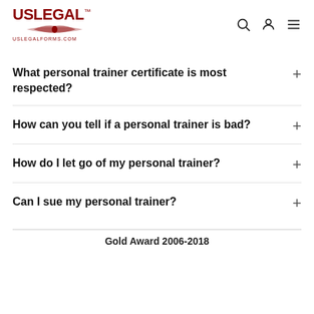USLegal™ uslegalforms.com
What personal trainer certificate is most respected?
How can you tell if a personal trainer is bad?
How do I let go of my personal trainer?
Can I sue my personal trainer?
Gold Award 2006-2018